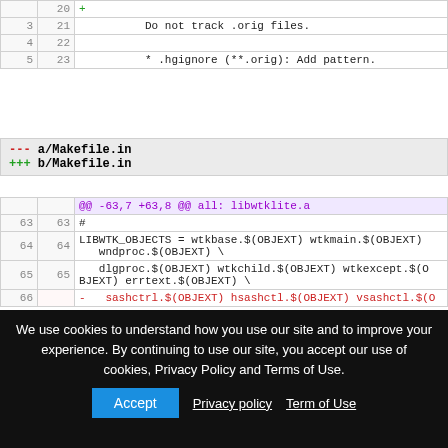|  | 20 | + |
| 3 | 21 |     Do not track .orig files. |
| 4 | 22 |  |
| 5 | 23 |     * .hgignore (**.orig): Add pattern. |
--- a/Makefile.in
+++ b/Makefile.in
|  |  | @@ -63,7 +63,8 @@ all: libwtklite.a |
| 63 | 63 | # |
| 64 | 64 | LIBWTK_OBJECTS = wtkbase.$(OBJEXT) wtkmain.$(OBJEXT) wndproc.$(OBJEXT) \ |
| 65 | 65 |    dlgproc.$(OBJEXT) wtkchild.$(OBJEXT) wtkexcept.$(OBJEXT) errtext.$(OBJEXT) \ |
| 66 |  | -   sashctrl.$(OBJEXT) hsashctl.$(OBJEXT) vsashctl.$(O |
We use cookies to understand how you use our site and to improve your experience. By continuing to use our site, you accept our use of cookies, Privacy Policy and Terms of Use.
Accept  Privacy policy  Term of Use
| 67 | 68 |  |